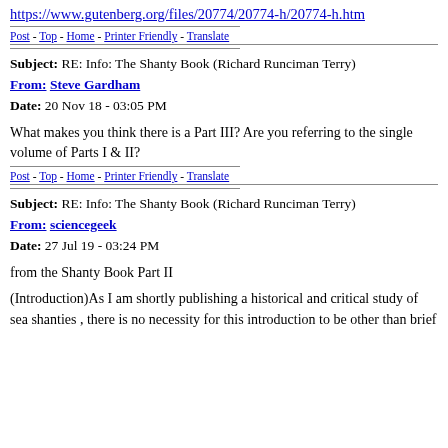https://www.gutenberg.org/files/20774/20774-h/20774-h.htm
Post - Top - Home - Printer Friendly - Translate
Subject: RE: Info: The Shanty Book (Richard Runciman Terry)
From: Steve Gardham
Date: 20 Nov 18 - 03:05 PM
What makes you think there is a Part III? Are you referring to the single volume of Parts I & II?
Post - Top - Home - Printer Friendly - Translate
Subject: RE: Info: The Shanty Book (Richard Runciman Terry)
From: sciencegeek
Date: 27 Jul 19 - 03:24 PM
from the Shanty Book Part II
(Introduction)As I am shortly publishing a historical and critical study of sea shanties , there is no necessity for this introduction to be other than brief